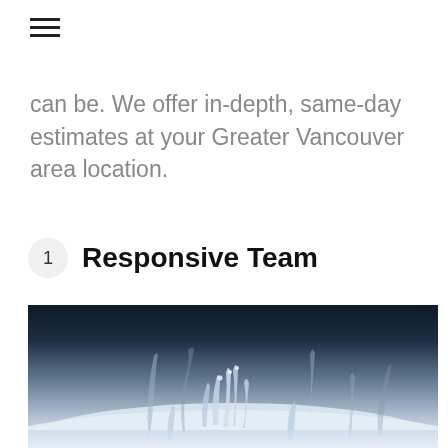≡
can be. We offer in-depth, same-day estimates at your Greater Vancouver area location.
1  Responsive Team
[Figure (photo): Close-up macro photograph of frost-covered grass blades against a dark blue-grey background, with white crystalline ice formations in the foreground]